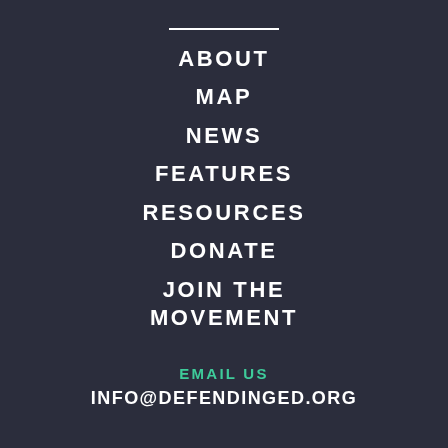ABOUT
MAP
NEWS
FEATURES
RESOURCES
DONATE
JOIN THE MOVEMENT
EMAIL US
INFO@DEFENDINGED.ORG